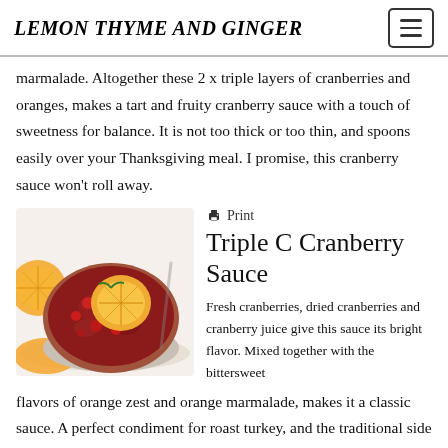LEMON THYME AND GINGER
marmalade. Altogether these 2 x triple layers of cranberries and oranges, makes a tart and fruity cranberry sauce with a touch of sweetness for balance. It is not too thick or too thin, and spoons easily over your Thanksgiving meal. I promise, this cranberry sauce won't roll away.
[Figure (photo): A glass bowl of cranberry sauce topped with an orange slice and cranberries, surrounded by orange slices on a white background.]
Print
Triple C Cranberry Sauce
Fresh cranberries, dried cranberries and cranberry juice give this sauce its bright flavor. Mixed together with the bittersweet flavors of orange zest and orange marmalade, makes it a classic sauce. A perfect condiment for roast turkey, and the traditional side dishes of